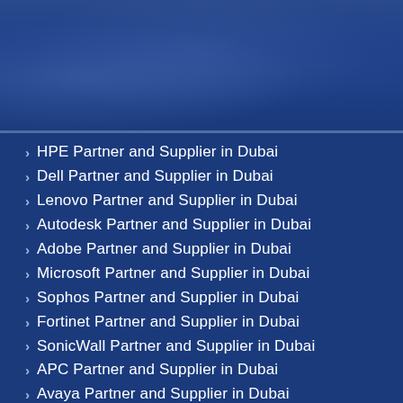[Figure (photo): Dark blue toned background image, likely showing an office or tech environment, faded into the background color]
HPE Partner and Supplier in Dubai
Dell Partner and Supplier in Dubai
Lenovo Partner and Supplier in Dubai
Autodesk Partner and Supplier in Dubai
Adobe Partner and Supplier in Dubai
Microsoft Partner and Supplier in Dubai
Sophos Partner and Supplier in Dubai
Fortinet Partner and Supplier in Dubai
SonicWall Partner and Supplier in Dubai
APC Partner and Supplier in Dubai
Avaya Partner and Supplier in Dubai
Ergotron Partner and Supplier in Dubai